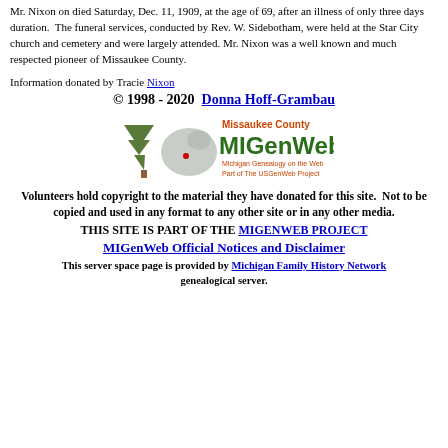Mr. Nixon on died Saturday, Dec. 11, 1909, at the age of 69, after an illness of only three days duration. The funeral services, conducted by Rev. W. Sidebotham, were held at the Star City church and cemetery and were largely attended. Mr. Nixon was a well known and much respected pioneer of Missaukee County.
Information donated by Tracie Nixon
© 1998 - 2020  Donna Hoff-Grambau
[Figure (logo): Missaukee County MIGenWeb logo — Michigan Genealogy on the Web, Part of The USGenWeb Project]
Volunteers hold copyright to the material they have donated for this site.  Not to be copied and used in any format to any other site or in any other media.
THIS SITE IS PART OF THE MIGENWEB PROJECT
MIGenWeb Official Notices and Disclaimer
This server space page is provided by Michigan Family History Network genealogical server.